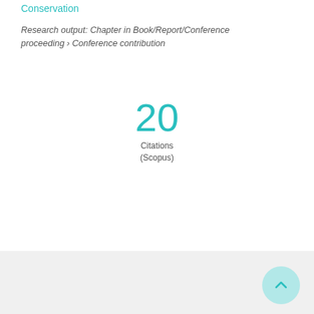Conservation
Research output: Chapter in Book/Report/Conference proceeding › Conference contribution
20
Citations
(Scopus)
Overview